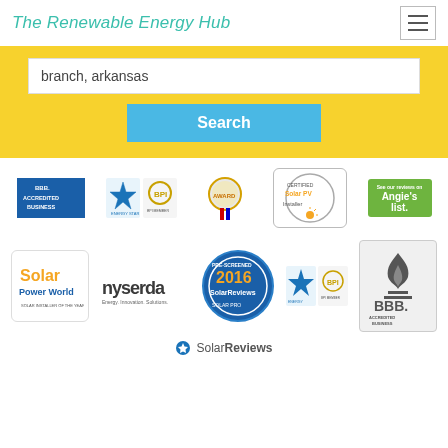The Renewable Energy Hub
branch, arkansas
Search
[Figure (screenshot): Collection of certification and accreditation badge logos: BBB Accredited Business, Energy Star, BPI, award ribbon, Certified Solar PV Installer, Angie's List, Solar Power World, nyserda, 2016 SolarReviews Pre-Screened Solar Pro, Energy Star BPI, BBB Accredited Business (large), SolarReviews footer logo]